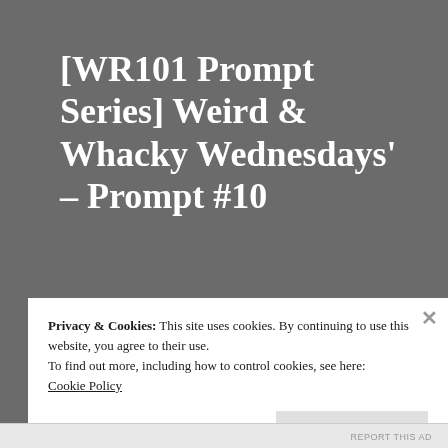[WR101 Prompt Series] Weird & Whacky Wednesdays' – Prompt #10
I'm using pictures as the inspiration for this week's theme. Your whacky Wednesday image is courtesy of  Mick Huett and can be found
Privacy & Cookies: This site uses cookies. By continuing to use this website, you agree to their use.
To find out more, including how to control cookies, see here:
Cookie Policy
Close and accept